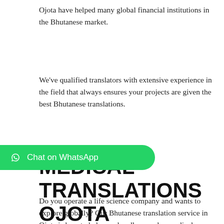Ojota have helped many global financial institutions in the Bhutanese market.
We've qualified translators with extensive experience in the field that always ensures your projects are given the best Bhutanese translations.
[Figure (other): WhatsApp chat button — green pill-shaped button with WhatsApp icon and text 'Chat on WhatsApp']
MEDICAL TRANSLATIONS OJOTA
Do you operate a life science company and wants to explore globally? Our Bhutanese translation service in Ojota is here to help you handle complex medical terminologies. We've capable native linguists who have the right experience to handle Bhutanese medical